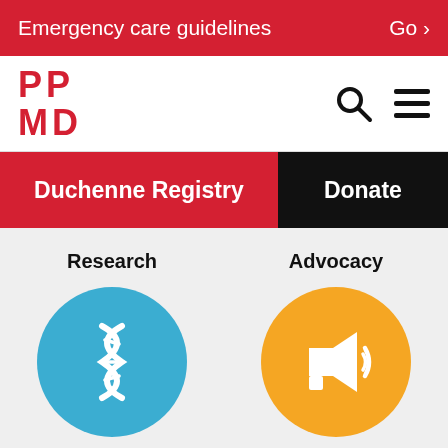Emergency care guidelines   Go >
[Figure (logo): PPMD logo in red with search and menu icons]
[Figure (screenshot): Navigation bar with Duchenne Registry (red) and Donate (black) buttons]
[Figure (infographic): Research icon - blue circle with DNA/gene icon]
Research
[Figure (infographic): Advocacy icon - orange circle with megaphone icon]
Advocacy
Care
Community